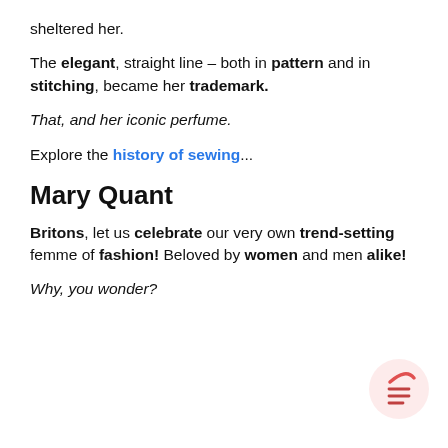sheltered her.
The elegant, straight line – both in pattern and in stitching, became her trademark.
That, and her iconic perfume.
Explore the history of sewing...
Mary Quant
Britons, let us celebrate our very own trend-setting femme of fashion! Beloved by women and men alike!
Why, you wonder?